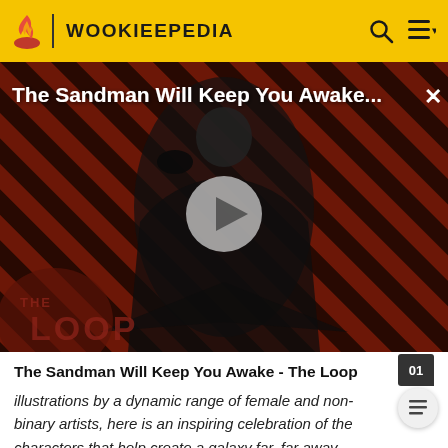WOOKIEEPEDIA
[Figure (screenshot): Video thumbnail for 'The Sandman Will Keep You Awake - The Loop' showing a dark-robed figure with a raven against a diagonal red and black striped background. A large play button triangle is centered. 'THE LOOP' watermark appears at bottom left.]
The Sandman Will Keep You Awake - The Loop
illustrations by a dynamic range of female and non-binary artists, here is an inspiring celebration of the characters that help create a galaxy far, far away.